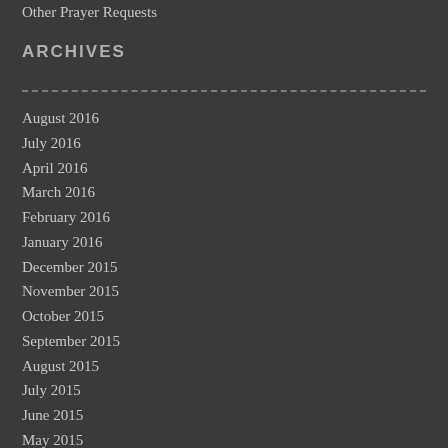Other Prayer Requests
ARCHIVES
August 2016
July 2016
April 2016
March 2016
February 2016
January 2016
December 2015
November 2015
October 2015
September 2015
August 2015
July 2015
June 2015
May 2015